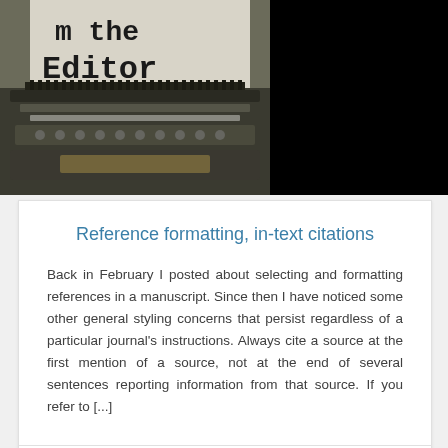[Figure (photo): Typewriter with paper reading 'from the Editor' on left side; black area on right side]
Reference formatting, in-text citations
Back in February I posted about selecting and formatting references in a manuscript. Since then I have noticed some other general styling concerns that persist regardless of a particular journal's instructions. Always cite a source at the first mention of a source, not at the end of several sentences reporting information from that source. If you refer to [...]
VIEW MORE